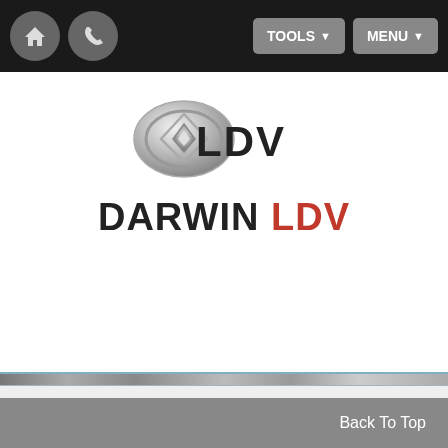TOOLS  MENU
[Figure (logo): LDV automotive brand logo with silver emblem and bold LDV text]
DARWIN LDV
[Figure (photo): Partial image strip showing vehicle thumbnails]
Back To Top